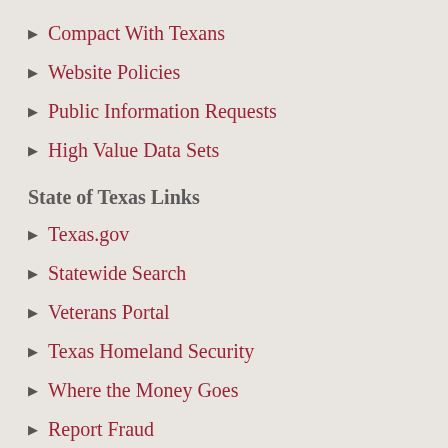Compact With Texans
Website Policies
Public Information Requests
High Value Data Sets
State of Texas Links
Texas.gov
Statewide Search
Veterans Portal
Texas Homeland Security
Where the Money Goes
Report Fraud